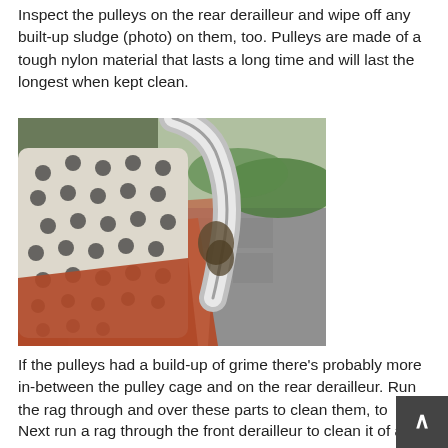Inspect the pulleys on the rear derailleur and wipe off any built-up sludge (photo) on them, too. Pulleys are made of a tough nylon material that lasts a long time and will last the longest when kept clean.
[Figure (photo): Close-up photo of a gloved hand (white glove with black dots, and red/orange cloth) cleaning a bicycle rear derailleur. The derailleur is silver/metallic and there is sludge/grime visible on it. Green grass and pavement visible in the background.]
If the pulleys had a build-up of grime there's probably more in-between the pulley cage and on the rear derailleur. Run the rag through and over these parts to clean them, to
Next run a rag through the front derailleur to clean it of any